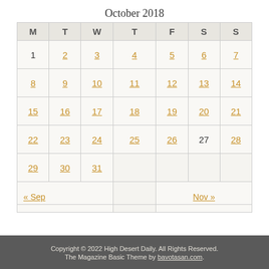October 2018
| M | T | W | T | F | S | S |
| --- | --- | --- | --- | --- | --- | --- |
| 1 | 2 | 3 | 4 | 5 | 6 | 7 |
| 8 | 9 | 10 | 11 | 12 | 13 | 14 |
| 15 | 16 | 17 | 18 | 19 | 20 | 21 |
| 22 | 23 | 24 | 25 | 26 | 27 | 28 |
| 29 | 30 | 31 |  |  |  |  |
| « Sep |  |  | Nov » |  |  |  |
Copyright © 2022 High Desert Daily. All Rights Reserved. The Magazine Basic Theme by bavotasan.com.